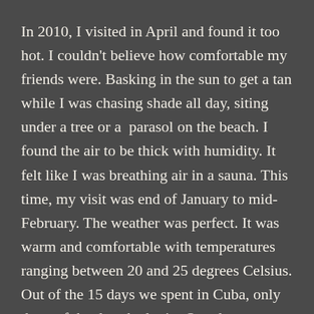In 2010, I visited in April and found it too hot. I couldn't believe how comfortable my friends were. Basking in the sun to get a tan while I was chasing shade all day, siting under a tree or a  parasol on the beach. I found the air to be thick with humidity. It felt like I was breathing air in a sauna. This time, my visit was end of January to mid-February. The weather was perfect. It was warm and comfortable with temperatures ranging between 20 and 25 degrees Celsius. Out of the 15 days we spent in Cuba, only three of the days had rain. One day was a very rare and deadly tornado, the worst the island had seen in over 50 years.  Sadly we learned that a few people had died. We stayed inside our hotel room all day watching